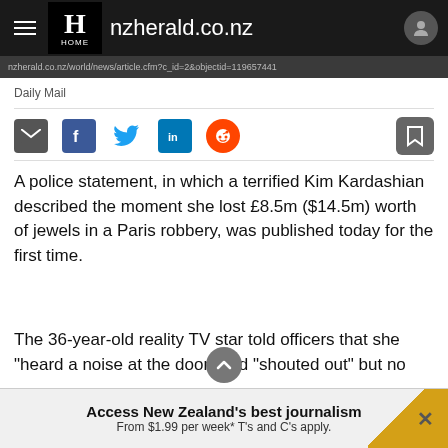nzherald.co.nz
Daily Mail
A police statement, in which a terrified Kim Kardashian described the moment she lost £8.5m ($14.5m) worth of jewels in a Paris robbery, was published today for the first time.
The 36-year-old reality TV star told officers that she "heard a noise at the door" and "shouted out" but no
Access New Zealand's best journalism
From $1.99 per week* T's and C's apply.